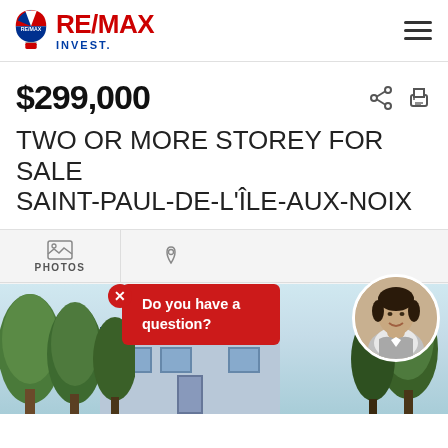[Figure (logo): RE/MAX INVEST. brand logo with hot air balloon icon on left, RE/MAX in red bold letters and INVEST. in blue below]
$299,000
TWO OR MORE STOREY FOR SALE
SAINT-PAUL-DE-L'ÎLE-AUX-NOIX
[Figure (photo): Photo tab area showing icons for PHOTOS and map, plus a house exterior photo partially visible at bottom with trees in foreground]
Do you have a question?
[Figure (photo): Circular headshot of female real estate agent with short dark hair, smiling]